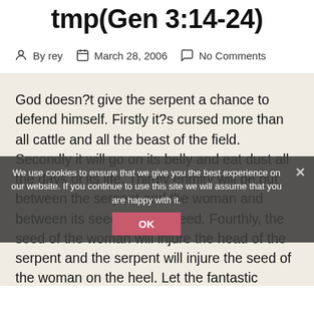tmp(Gen 3:14-24)
By rey   March 28, 2006   No Comments
God doesn?t give the serpent a chance to defend himself. Firstly it?s cursed more than all cattle and all the beast of the field. Secondly it will go on its belly and eat dust all the days of its life. Thirdly enmity will be put between the serpent and the woman and between its seed and her seed. Fourthly, the seed of the woman will injure the head of the serpent and the serpent will injure the seed of the woman on the heel. Let the fantastic musings begin!
Some have taken the whole belly thing to mean that the serpent once walked but then it was cursed to go on its belly. Maybe, although the statement ?eat dust? would
We use cookies to ensure that we give you the best experience on our website. If you continue to use this site we will assume that you are happy with it.